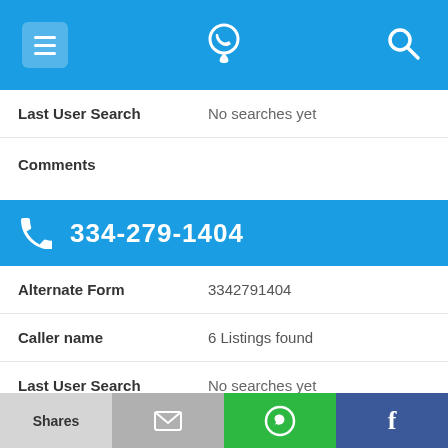[Figure (screenshot): App top navigation bar with menu icon, phone/location logo, and search icon on blue background]
Last User Search    No searches yet
Comments
334-279-1404
Alternate Form    3342791404
Caller name    6 Listings found
Last User Search    No searches yet
Comments
[Figure (screenshot): Bottom share bar with Shares label, email icon, WhatsApp icon, and Facebook icon]